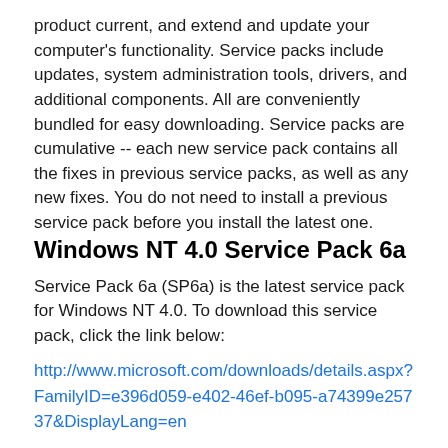product current, and extend and update your computer's functionality. Service packs include updates, system administration tools, drivers, and additional components. All are conveniently bundled for easy downloading. Service packs are cumulative -- each new service pack contains all the fixes in previous service packs, as well as any new fixes. You do not need to install a previous service pack before you install the latest one.
Windows NT 4.0 Service Pack 6a
Service Pack 6a (SP6a) is the latest service pack for Windows NT 4.0. To download this service pack, click the link below:
http://www.microsoft.com/downloads/details.aspx?FamilyID=e396d059-e402-46ef-b095-a74399e25737&DisplayLang=en